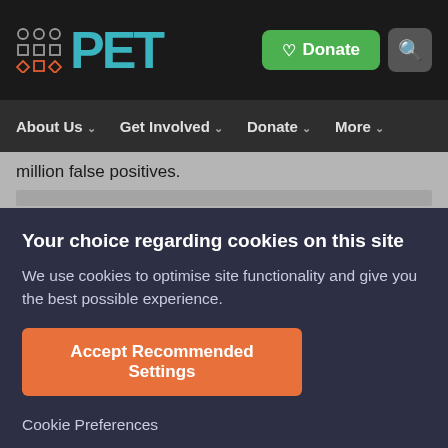[Figure (screenshot): PET website logo with teal colored grid icon and PET text in teal, with green Donate button and grey search button on dark background]
About Us  Get Involved  Donate  More
million false positives.
Your choice regarding cookies on this site
We use cookies to optimise site functionality and give you the best possible experience.
Accept Recommended Settings
Cookie Preferences